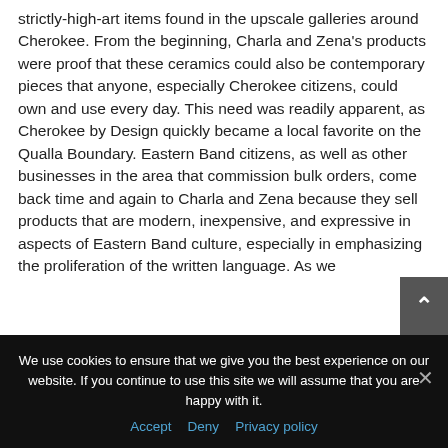strictly-high-art items found in the upscale galleries around Cherokee. From the beginning, Charla and Zena's products were proof that these ceramics could also be contemporary pieces that anyone, especially Cherokee citizens, could own and use every day. This need was readily apparent, as Cherokee by Design quickly became a local favorite on the Qualla Boundary. Eastern Band citizens, as well as other businesses in the area that commission bulk orders, come back time and again to Charla and Zena because they sell products that are modern, inexpensive, and expressive in aspects of Eastern Band culture, especially in emphasizing the proliferation of the written language. As we
We use cookies to ensure that we give you the best experience on our website. If you continue to use this site we will assume that you are happy with it.
Accept  Deny  Privacy policy